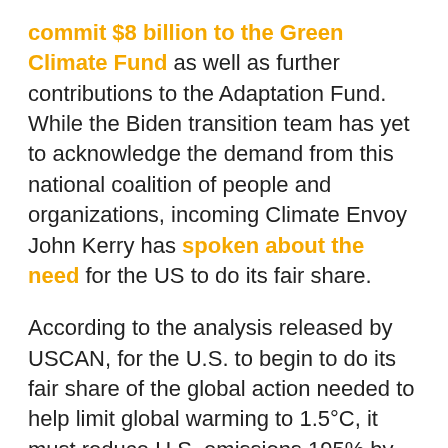commit $8 billion to the Green Climate Fund as well as further contributions to the Adaptation Fund. While the Biden transition team has yet to acknowledge the demand from this national coalition of people and organizations, incoming Climate Envoy John Kerry has spoken about the need for the US to do its fair share.
According to the analysis released by USCAN, for the U.S. to begin to do its fair share of the global action needed to help limit global warming to 1.5°C, it must reduce U.S. emissions 195% by 2030 (down from 2005 levels). To assemble this contribution, the analysis calls for U.S. domestic emissions reductions of 70% by 2030 combined with a further 125%